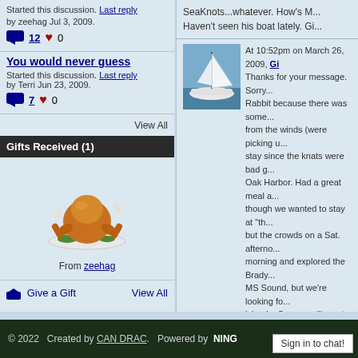Started this discussion. Last reply by zeehag Jul 3, 2009.
12  0
You would never guess
Started this discussion. Last reply by Terri Jun 23, 2009.
7  0
View All
Gifts Received (1)
[Figure (photo): Cartoon turkey/roast chicken illustration with green garnish on a white plate]
From zeehag
Give a Gift  View All
[Figure (photo): Sailboat on water, blue sky, mast visible]
At 10:52pm on March 26, 2009, Gi... Thanks for your message. Sorry... Rabbit because there was some... from the winds (were picking u... stay since the knats were bad g... Oak Harbor. Had a great meal a... though we wanted to stay at "th... but the crowds on a Sat. afterno... morning and explored the Brady... MS Sound, but we're looking fo... islands. Guess we'll meet you s...
SeaKnots...whatever. How's M... Haven't seen his boat lately. Gi...
© 2022   Created by CAN DRAC.   Powered by  NING
Sign in to chat!